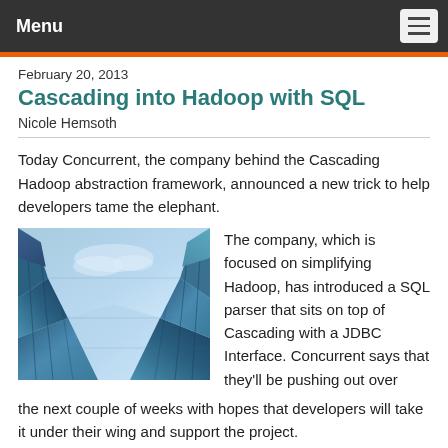Menu
February 20, 2013
Cascading into Hadoop with SQL
Nicole Hemsoth
Today Concurrent, the company behind the Cascading Hadoop abstraction framework, announced a new trick to help developers tame the elephant.
[Figure (photo): Glass building facade with blue sky reflection, viewed from below at an angle]
The company, which is focused on simplifying Hadoop, has introduced a SQL parser that sits on top of Cascading with a JDBC Interface. Concurrent says that they'll be pushing out over the next couple of weeks with hopes that developers will take it under their wing and support the project.